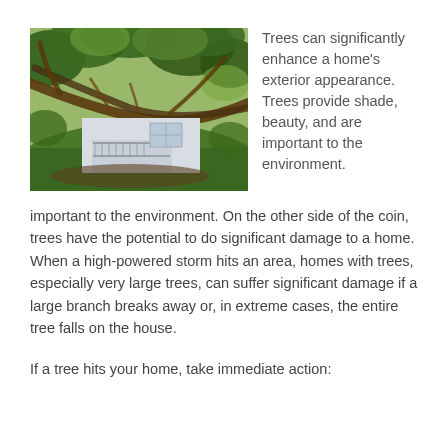[Figure (photo): A large tree fallen onto a house after a storm. The tree is sprawled across the roof and front porch of a small white house. Green leafy branches surround the scene on a grassy hillside.]
Trees can significantly enhance a home's exterior appearance. Trees provide shade, beauty, and are important to the environment. On the other side of the coin, trees have the potential to do significant damage to a home. When a high-powered storm hits an area, homes with trees, especially very large trees, can suffer significant damage if a large branch breaks away or, in extreme cases, the entire tree falls on the house.
If a tree hits your home, take immediate action: